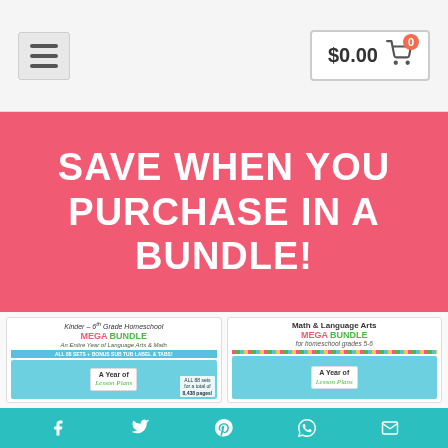$0.00 🛒 0
SAVE WHEN YOU PURCHASE IN A BUNDLE!
[Figure (photo): Two product bundle images: left shows 'Kinder - 6th Grade Homeschool MEGA BUNDLE - An Entire Year of Language Arts & Math - ALL 88 SETS + BONUS SUB TUB LABEL & TABS! ALL 88 sets for a total of 8,438 pages!' with a bin of lesson plan binders; right shows 'Math & Language Arts MEGA BUNDLE for homeschool grades 5-6' with a similar bin.]
f  𝕏  𝒫  WhatsApp  ✉